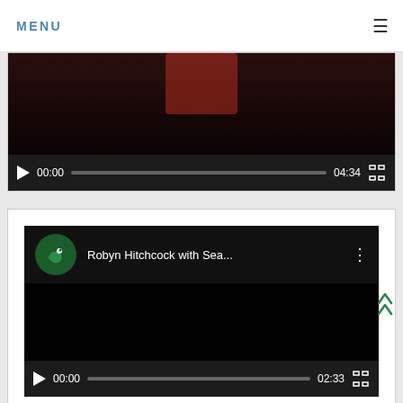MENU
[Figure (screenshot): Video player with dark controls showing time 00:00 and duration 04:34, progress bar, play button and fullscreen button on dark background]
[Figure (screenshot): YouTube video player showing 'Robyn Hitchcock with Sea...' with green bird logo, black video area, and controls showing 00:00 and 02:33]